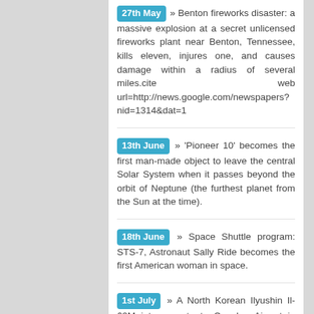27th May » Benton fireworks disaster: a massive explosion at a secret unlicensed fireworks plant near Benton, Tennessee, kills eleven, injures one, and causes damage within a radius of several miles.cite web url=http://news.google.com/newspapers?nid=1314&dat=1
13th June » 'Pioneer 10' becomes the first man-made object to leave the central Solar System when it passes beyond the orbit of Neptune (the furthest planet from the Sun at the time).
18th June » Space Shuttle program: STS-7, Astronaut Sally Ride becomes the first American woman in space.
1st July » A North Korean Ilyushin Il-62M jet en route to Conakry Airport in Guinea crashes into the Fouta Djallon mountains in Guinea-Bissau, killing all 23 people on